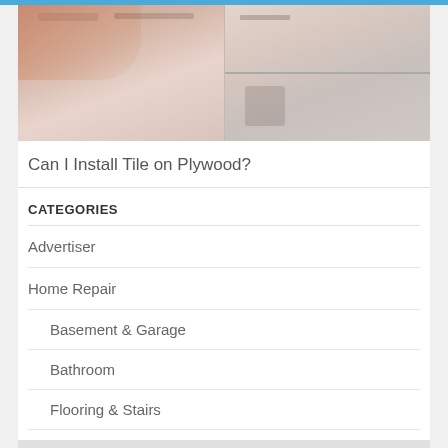[Figure (photo): Photo of hands working with tile installation on plywood, split into two panels]
Can I Install Tile on Plywood?
CATEGORIES
Advertiser
Home Repair
Basement & Garage
Bathroom
Flooring & Stairs
Kitchen Repair & Reno
Uncategorized